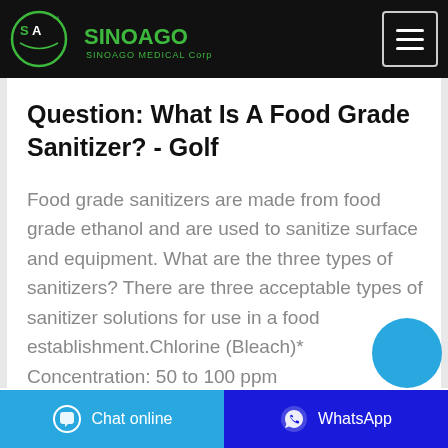SinoAgo SINOAGO MEDICAL Corp
Question: What Is A Food Grade Sanitizer? - Golf
Food grade sanitizers are made from food grade ethanol and are used to sanitize surface and equipment. What are the three types of sanitizers? There are three acceptable types of sanitizer solutions for use in a food establishment.Chlorine (Bleach)* Concentration: 50 to 100 ppm
Chat online   WhatsApp